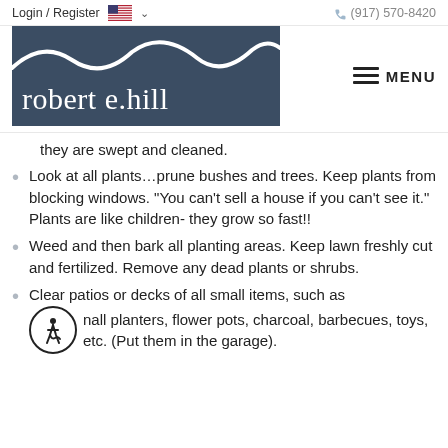Login / Register  🇺🇸 ∨    (917) 570-8420
[Figure (logo): Robert E. Hill real estate logo — dark blue-grey box with white wave curves and white serif text reading 'robert e.hill']
MENU
they are swept and cleaned.
Look at all plants…prune bushes and trees. Keep plants from blocking windows. "You can't sell a house if you can't see it." Plants are like children- they grow so fast!!
Weed and then bark all planting areas. Keep lawn freshly cut and fertilized. Remove any dead plants or shrubs.
Clear patios or decks of all small items, such as small planters, flower pots, charcoal, barbecues, toys, etc. (Put them in the garage).